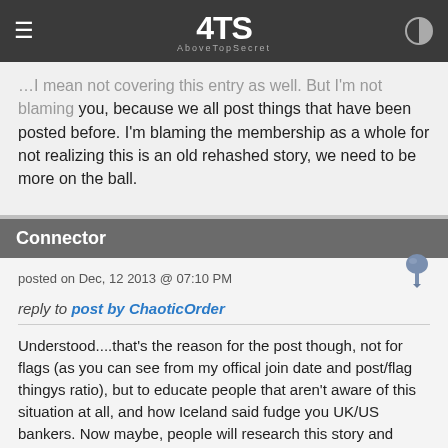ATS AboveTopSecret
…I mean not covering this story as well. But I'm not blaming you, because we all post things that have been posted before. I'm blaming the membership as a whole for not realizing this is an old rehashed story, we need to be more on the ball.
Connector
posted on Dec, 12 2013 @ 07:10 PM
reply to post by ChaoticOrder
Understood....that's the reason for the post though, not for flags (as you can see from my offical join date and post/flag thingys ratio), but to educate people that aren't aware of this situation at all, and how Iceland said fudge you UK/US bankers. Now maybe, people will research this story and apply it to their situation and find a way to better it. Star for u for being critical!